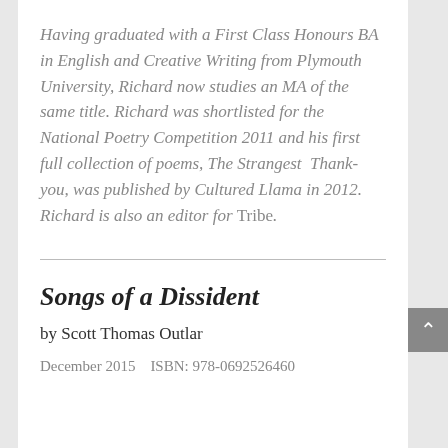Having graduated with a First Class Honours BA in English and Creative Writing from Plymouth University, Richard now studies an MA of the same title. Richard was shortlisted for the National Poetry Competition 2011 and his first full collection of poems, The Strangest Thank-you, was published by Cultured Llama in 2012. Richard is also an editor for Tribe.
Songs of a Dissident
by Scott Thomas Outlar
December 2015    ISBN: 978-0692526460